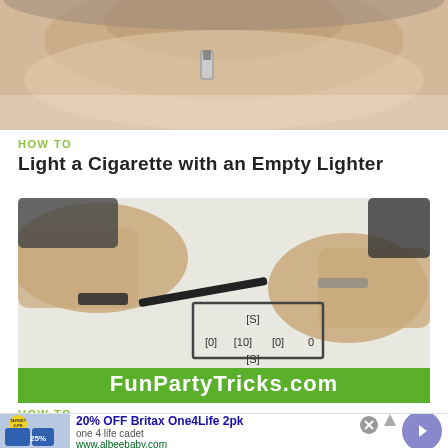[Figure (photo): Close-up photo of a person's face, blurry, near top of page]
HOW TO
Light a Cigarette with an Empty Lighter
[Figure (screenshot): Video thumbnail showing two hands over a white surface with a pen drawing a rectangle with numbers inside, and a green banner at the bottom reading FunPartyTricks.com]
HOW TO
[Figure (infographic): Advertisement: 20% OFF Britax One4Life 2pk. one 4 life cadet. www.albeebaby.com. Shows car seat product image and navigation arrow button.]